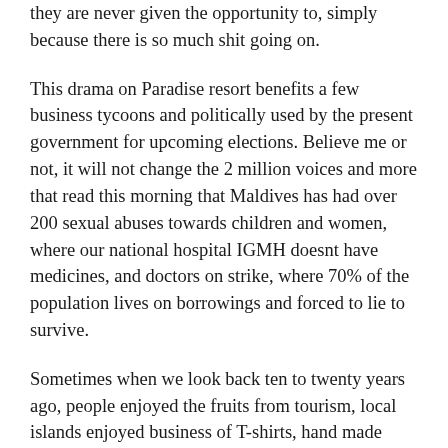they are never given the opportunity to, simply because there is so much shit going on.
This drama on Paradise resort benefits a few business tycoons and politically used by the present government for upcoming elections. Believe me or not, it will not change the 2 million voices and more that read this morning that Maldives has had over 200 sexual abuses towards children and women, where our national hospital IGMH doesnt have medicines, and doctors on strike, where 70% of the population lives on borrowings and forced to lie to survive.
Sometimes when we look back ten to twenty years ago, people enjoyed the fruits from tourism, local islands enjoyed business of T-shirts, hand made products, etc. Today, everything is sourced from Thailand or Indonesia...resorts have become 5 star